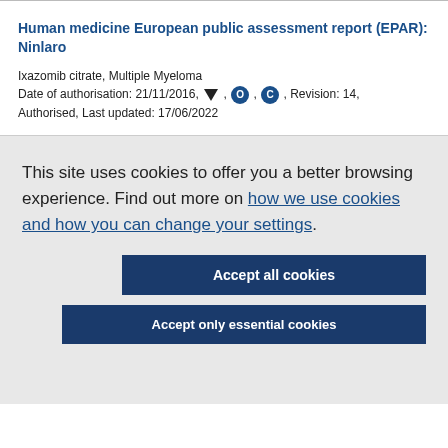Human medicine European public assessment report (EPAR): Ninlaro
Ixazomib citrate, Multiple Myeloma
Date of authorisation: 21/11/2016, ▼, O, C, Revision: 14, Authorised, Last updated: 17/06/2022
This site uses cookies to offer you a better browsing experience. Find out more on how we use cookies and how you can change your settings.
Accept all cookies
Accept only essential cookies